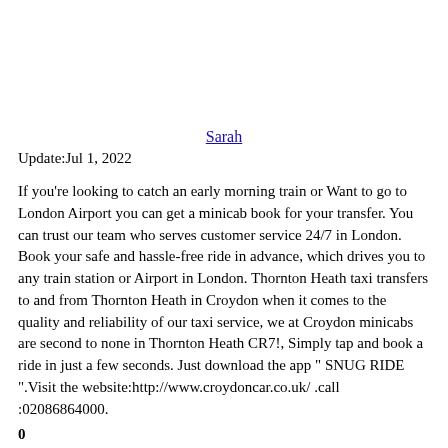Sarah
Update:Jul 1, 2022
If you're looking to catch an early morning train or Want to go to London Airport you can get a minicab book for your transfer. You can trust our team who serves customer service 24/7 in London. Book your safe and hassle-free ride in advance, which drives you to any train station or Airport in London. Thornton Heath taxi transfers to and from Thornton Heath in Croydon when it comes to the quality and reliability of our taxi service, we at Croydon minicabs are second to none in Thornton Heath CR7!, Simply tap and book a ride in just a few seconds. Just download the app " SNUG RIDE ".Visit the website:http://www.croydoncar.co.uk/ .call :02086864000.
0
value